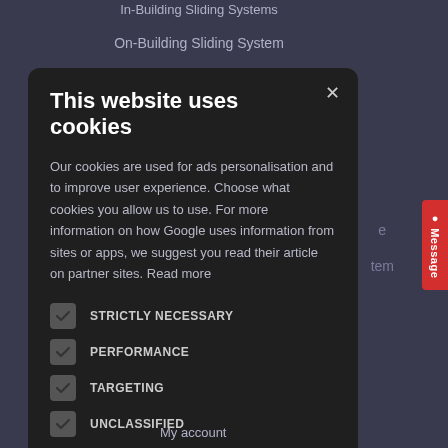In-Building Sliding Systems
On-Building Sliding System
This website uses cookies
Our cookies are used for ads personalisation and to improve user experience. Choose what cookies you allow us to use. For more information on how Google uses information from sites or apps, we suggest you read their article on partner sites. Read more
STRICTLY NECESSARY
PERFORMANCE
TARGETING
UNCLASSIFIED
ACCEPT ALL
Message
My account